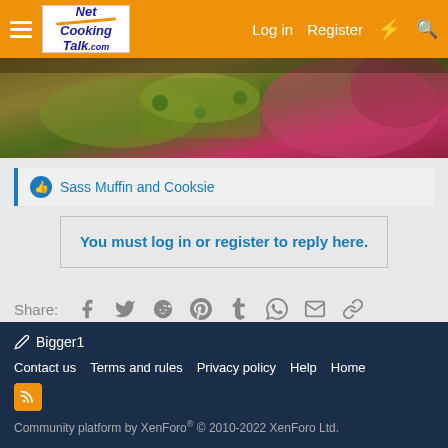Net Cooking Talk - Log in | Register
[Figure (photo): Close-up food photo showing cooked dish with green herbs and red floral plate decoration]
👍 Sass Muffin and Cooksie
You must log in or register to reply here.
Share: (Facebook, Twitter, Reddit, Pinterest, Tumblr, WhatsApp, Email, Link)
< Chicken & Turkey Forum
Bigger1
Contact us  Terms and rules  Privacy policy  Help  Home
Community platform by XenForo® © 2010-2022 XenForo Ltd.